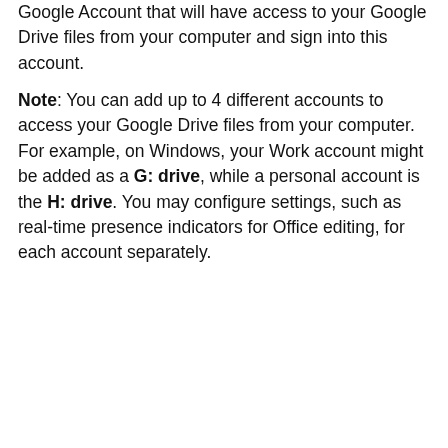Google Account that will have access to your Google Drive files from your computer and sign into this account.
Note: You can add up to 4 different accounts to access your Google Drive files from your computer. For example, on Windows, your Work account might be added as a G: drive, while a personal account is the H: drive. You may configure settings, such as real-time presence indicators for Office editing, for each account separately.
[Figure (screenshot): A Google 'Sign in with Google' dialog showing 'Choose an account to continue to Google Drive for desktop'. Shows an account for [dev]Eddie Ngugi and a 'Use another account' option. Footer text reads 'To continue, Google will share your name, email address...'.]